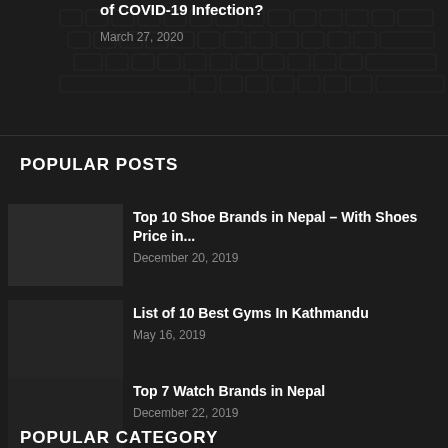of COVID-19 Infection?
March 27, 2020
POPULAR POSTS
Top 10 Shoe Brands in Nepal – With Shoes Price in...
December 20, 2019
List of 10 Best Gyms In Kathmandu
May 16, 2019
Top 7 Watch Brands in Nepal
December 22, 2019
POPULAR CATEGORY